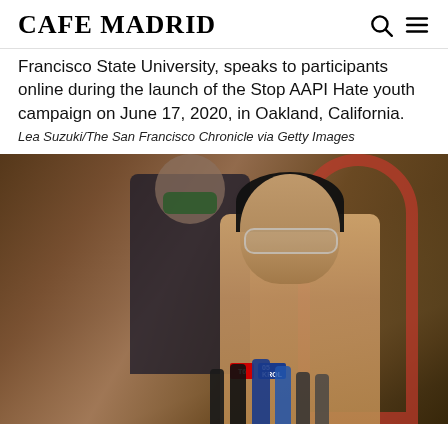CAFE MADRID
Francisco State University, speaks to participants online during the launch of the Stop AAPI Hate youth campaign on June 17, 2020, in Oakland, California.
Lea Suzuki/The San Francisco Chronicle via Getty Images
[Figure (photo): A woman with glasses and black hair speaks at a press conference with multiple microphones in front of her. A man in a dark suit wearing a green mask stands behind her. The setting appears to be an interior space with brick arches.]